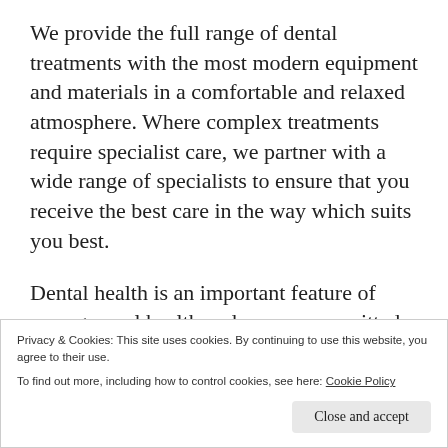We provide the full range of dental treatments with the most modern equipment and materials in a comfortable and relaxed atmosphere. Where complex treatments require specialist care, we partner with a wide range of specialists to ensure that you receive the best care in the way which suits you best.
Dental health is an important feature of your general health and we are committed to ensuring that you dental health is maintained
Privacy & Cookies: This site uses cookies. By continuing to use this website, you agree to their use.
To find out more, including how to control cookies, see here: Cookie Policy